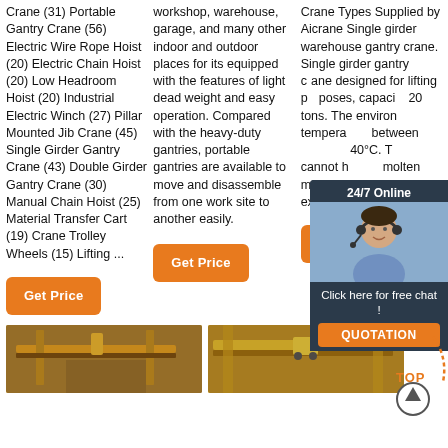Crane (31) Portable Gantry Crane (56) Electric Wire Rope Hoist (20) Electric Chain Hoist (20) Low Headroom Hoist (20) Industrial Electric Winch (27) Pillar Mounted Jib Crane (45) Single Girder Gantry Crane (43) Double Girder Gantry Crane (30) Manual Chain Hoist (25) Material Transfer Cart (19) Crane Trolley Wheels (15) Lifting ...
workshop, warehouse, garage, and many other indoor and outdoor places for its equipped with the features of light dead weight and easy operation. Compared with the heavy-duty gantries, portable gantries are available to move and disassemble from one work site to another easily.
Crane Types Supplied by Aicrane Single girder warehouse gantry crane. Single girder gantry crane designed for lifting purposes, capacity 20 tons. The environment temperature between -20°C to 40°C. The crane cannot handle molten metal or flammable and explosive materials.
[Figure (photo): Customer service representative with headset, 24/7 Online chat overlay panel with QUOTATION button]
[Figure (photo): Yellow gantry crane in industrial warehouse]
[Figure (photo): Yellow overhead crane structure in industrial facility]